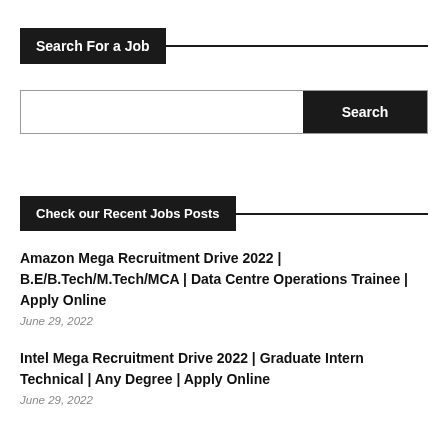Search For a Job
Search
Check our Recent Jobs Posts
Amazon Mega Recruitment Drive 2022 | B.E/B.Tech/M.Tech/MCA | Data Centre Operations Trainee | Apply Online
June 29, 2022
Intel Mega Recruitment Drive 2022 | Graduate Intern Technical | Any Degree | Apply Online
June 29, 2022